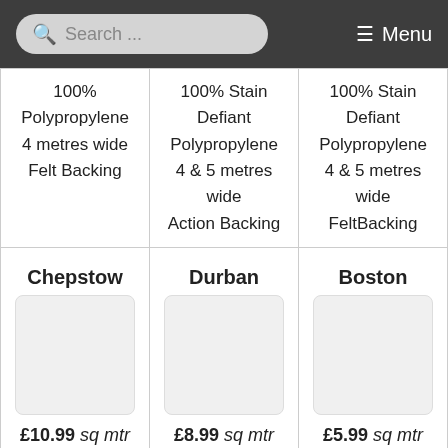Search ... Menu
| 100% Polypropylene 4 metres wide Felt Backing | 100% Stain Defiant Polypropylene 4 & 5 metres wide Action Backing | 100% Stain Defiant Polypropylene 4 & 5 metres wide FeltBacking |
| Chepstow | Durban | Boston |
| [image] £10.99 sq mtr 100% Stain Defiant | [image] £8.99 sq mtr 100% Polypropylene | [image] £5.99 sq mtr 100% Polypropylene |